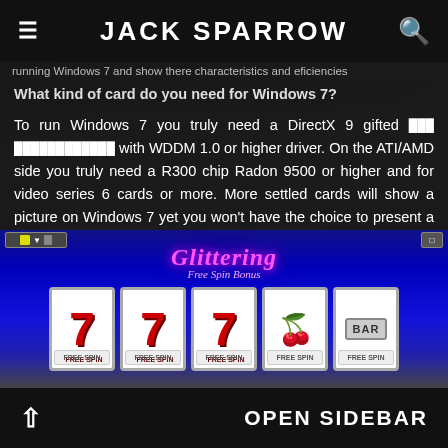JACK SPARROW
running Windows 7 and show there characteristics and efficiencies
What kind of card do you need for Windows 7?
To run Windows 7 you truly need a DirectX 9 gifted [garbled] with WDDM 1.0 or higher driver. On the ATI/AMD side you truly need a R300 chip Radon 9500 or higher and for video series 6 cards or more. More settled cards will show a picture on Windows 7 yet you won't have the choice to present a driver and run any games or applications that usage Direct X or OpenGL. I have minded the options available and facilitated them by cost.
[Figure (screenshot): Screenshot of a slot machine game showing 'Glittering Free Spin Bonus' with reels displaying three 7s, a cherry, and a BAR symbol]
OPEN SIDEBAR